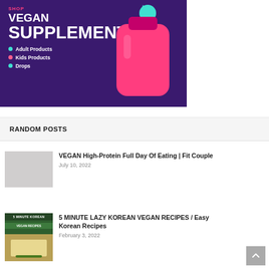[Figure (illustration): Advertisement banner for vegan supplements. Purple background with pink bottle graphic and teal star. Text: SHOP VEGAN SUPPLEMENTS with bullet points: Adult Products, Kids Products, Drops.]
RANDOM POSTS
VEGAN High-Protein Full Day Of Eating | Fit Couple
July 10, 2022
5 MINUTE LAZY KOREAN VEGAN RECIPES / Easy Korean Recipes
February 3, 2022